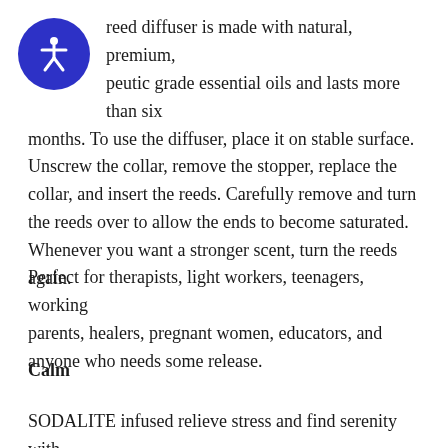[Figure (logo): Blue circular accessibility icon with a white person figure]
reed diffuser is made with natural, premium, peutic grade essential oils and lasts more than six months. To use the diffuser, place it on stable surface. Unscrew the collar, remove the stopper, replace the collar, and insert the reeds. Carefully remove and turn the reeds over to allow the ends to become saturated. Whenever you want a stronger scent, turn the reeds again.
Perfect for therapists, light workers, teenagers, working parents, healers, pregnant women, educators, and anyone who needs some release.
Calm
SODALITE infused relieve stress and find serenity with chamomile, nerolina, and sage.